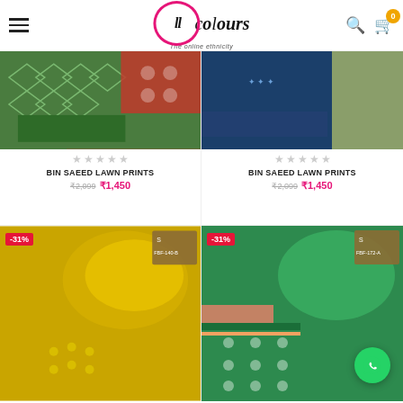Allcolours – The online ethnicity
[Figure (photo): Product photo: green and red diamond print fabric set]
★★★★★
BIN SAEED LAWN PRINTS
₹2,099  ₹1,450
[Figure (photo): Product photo: navy blue and olive green fabric set]
★★★★★
BIN SAEED LAWN PRINTS
₹2,099  ₹1,450
[Figure (photo): Product photo: yellow embroidered fabric set with -31% badge, code FBF-140-B]
[Figure (photo): Product photo: green polka dot fabric set with -31% badge, code FBF-172-A]